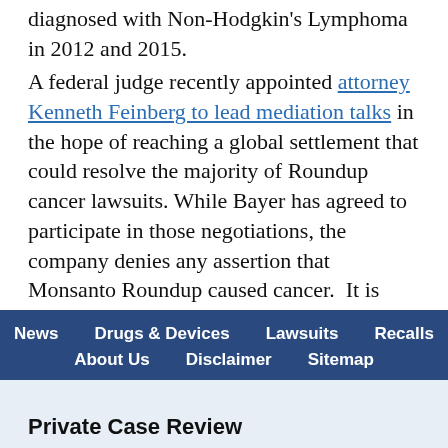diagnosed with Non-Hodgkin's Lymphoma in 2012 and 2015.

A federal judge recently appointed attorney Kenneth Feinberg to lead mediation talks in the hope of reaching a global settlement that could resolve the majority of Roundup cancer lawsuits. While Bayer has agreed to participate in those negotiations, the company denies any assertion that Monsanto Roundup caused cancer.  It is appealing the recent verdicts and has vowed to continue waging a vigorous defense.
News | Drugs & Devices | Lawsuits | Recalls | About Us | Disclaimer | Sitemap
Private Case Review